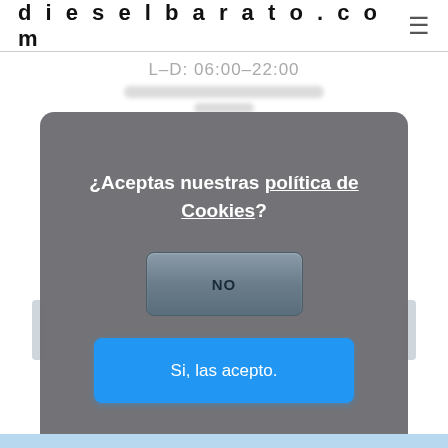dieselbarato.com
L-D: 06:00-22:00
[Figure (screenshot): Cookie consent modal dialog with dark grey rounded rectangle background. Contains bold white text asking '¿Aceptas nuestras política de Cookies?' with a grey 'NO' button and a blue 'Si, las acepto.' button.]